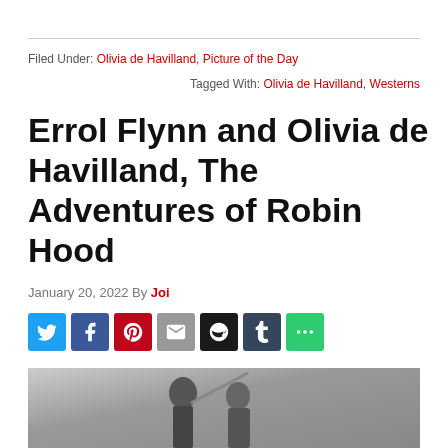Filed Under: Olivia de Havilland, Picture of the Day
Tagged With: Olivia de Havilland, Westerns
Errol Flynn and Olivia de Havilland, The Adventures of Robin Hood
January 20, 2022 By Joi
[Figure (photo): Black and white photo of Errol Flynn holding a sword aloft and Olivia de Havilland beside him, from The Adventures of Robin Hood]
[Figure (infographic): Social share buttons: Twitter, Facebook, Pinterest, Email, Amazon, Tumblr, More]